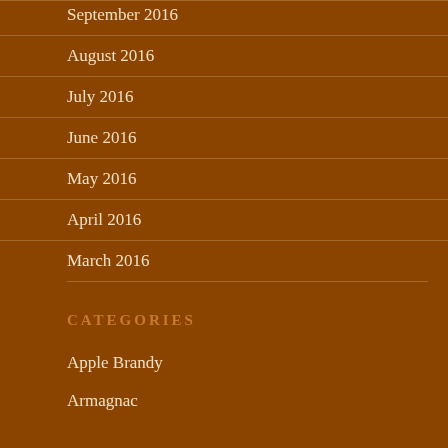September 2016
August 2016
July 2016
June 2016
May 2016
April 2016
March 2016
CATEGORIES
Apple Brandy
Armagnac